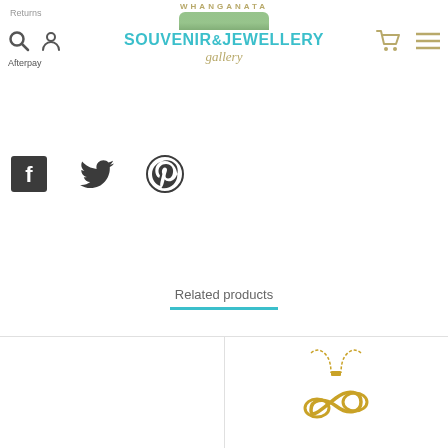Returns | Whanganata Souvenir & Jewellery Gallery | Afterpay
[Figure (logo): Whanganata Souvenir & Jewellery Gallery logo with teal text and gold script]
[Figure (illustration): Social share icons: Facebook, Twitter, Pinterest]
Related products
[Figure (photo): Left product card - empty/white product area]
[Figure (photo): Right product card - gold infinity necklace pendant on chain]